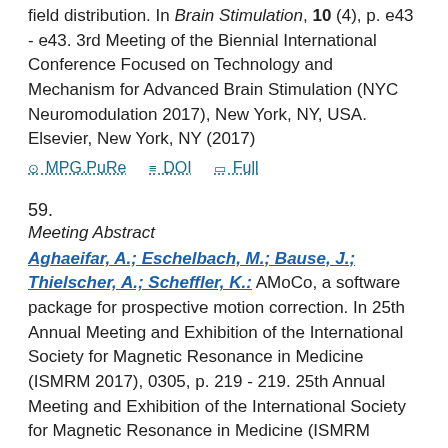field distribution. In Brain Stimulation, 10 (4), p. e43 - e43. 3rd Meeting of the Biennial International Conference Focused on Technology and Mechanism for Advanced Brain Stimulation (NYC Neuromodulation 2017), New York, NY, USA. Elsevier, New York, NY (2017)
MPG.PuRe   DOI   Full
59.
Meeting Abstract
Aghaeifar, A.; Eschelbach, M.; Bause, J.; Thielscher, A.; Scheffler, K.: AMoCo, a software package for prospective motion correction. In 25th Annual Meeting and Exhibition of the International Society for Magnetic Resonance in Medicine (ISMRM 2017), 0305, p. 219 - 219. 25th Annual Meeting and Exhibition of the International Society for Magnetic Resonance in Medicine (ISMRM 2017), Honolulu, HI, USA. (2017)